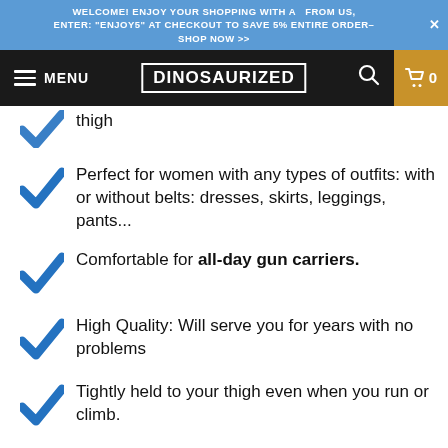WELCOME! ENJOY YOUR SHOPPING WITH A  FROM US, ENTER: "ENJOY5" AT CHECKOUT TO SAVE 5% ENTIRE ORDER- SHOP NOW >>
MENU  DINOSAURIZED  0
thigh
Perfect for women with any types of outfits: with or without belts: dresses, skirts, leggings, pants...
Comfortable for all-day gun carriers.
High Quality: Will serve you for years with no problems
Tightly held to your thigh even when you run or climb.
Both concealed and open carry.
Vertical: Your gun pointing to the ground so it's much safer for people around you.